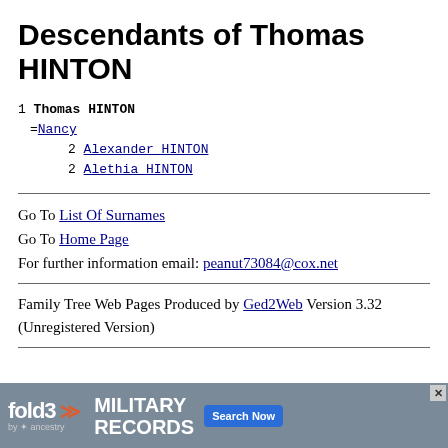Descendants of Thomas HINTON
1 Thomas HINTON
=Nancy
2 Alexander HINTON
2 Alethia HINTON
Go To List Of Surnames
Go To Home Page
For further information email: peanut73084@cox.net
Family Tree Web Pages Produced by Ged2Web Version 3.32 (Unregistered Version)
[Figure (other): Fold3 by Ancestry military records advertisement banner with search button]